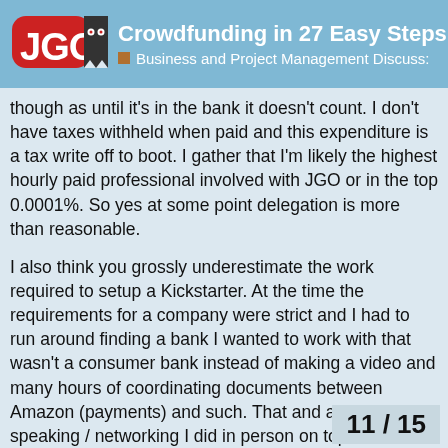Crowdfunding in 27 Easy Steps video | Business and Project Management Discussion
though as until it's in the bank it doesn't count. I don't have taxes withheld when paid and this expenditure is a tax write off to boot. I gather that I'm likely the highest hourly paid professional involved with JGO or in the top 0.0001%. So yes at some point delegation is more than reasonable.
I also think you grossly underestimate the work required to setup a Kickstarter. At the time the requirements for a company were strict and I had to run around finding a bank I wanted to work with that wasn't a consumer bank instead of making a video and many hours of coordinating documents between Amazon (payments) and such. That and all of the speaking / networking I did in person on top of a 50-60 hour work week had my schedule full and then some. Being an introvert none of that was energizing and was pretty challenging given the amount of in person indifference encountered; Big Android BBQ was a good example of that. Being “in friendly territory” wasn’t so friendly on the surface in general.
And as mentioned I don't think changing th
11 / 15